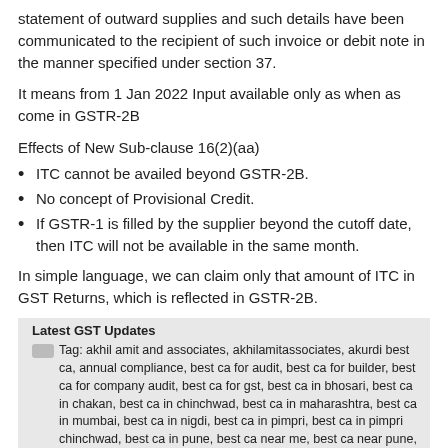statement of outward supplies and such details have been communicated to the recipient of such invoice or debit note in the manner specified under section 37.
It means from 1 Jan 2022 Input available only as when as come in GSTR-2B
Effects of New Sub-clause 16(2)(aa)
ITC cannot be availed beyond GSTR-2B.
No concept of Provisional Credit.
If GSTR-1 is filled by the supplier beyond the cutoff date, then ITC will not be available in the same month.
In simple language, we can claim only that amount of ITC in GST Returns, which is reflected in GSTR-2B.
Latest GST Updates
Tag: akhil amit and associates, akhilamitassociates, akurdi best ca, annual compliance, best ca for audit, best ca for builder, best ca for company audit, best ca for gst, best ca in bhosari, best ca in chakan, best ca in chinchwad, best ca in maharashtra, best ca in mumbai, best ca in nigdi, best ca in pimpri, best ca in pimpri chinchwad, best ca in pune, best ca near me, best ca near pune, best ca of pune, best chartered accountant in chinchwad, best gst ca in chinchwad, best gst ca in pune, ca near me, chartered accountant near me, company